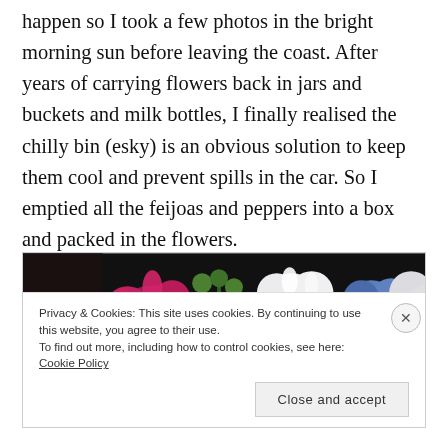Well, I ran out of light tonight, which I thought might happen so I took a few photos in the bright morning sun before leaving the coast. After years of carrying flowers back in jars and buckets and milk bottles, I finally realised the chilly bin (esky) is an obvious solution to keep them cool and prevent spills in the car. So I emptied all the feijoas and peppers into a box and packed in the flowers.
[Figure (photo): A photo of colorful flowers including pink/magenta dahlias, white flowers, and blue flowers arranged together, partially visible at the top of a cookie consent overlay box.]
Privacy & Cookies: This site uses cookies. By continuing to use this website, you agree to their use.
To find out more, including how to control cookies, see here: Cookie Policy

Close and accept